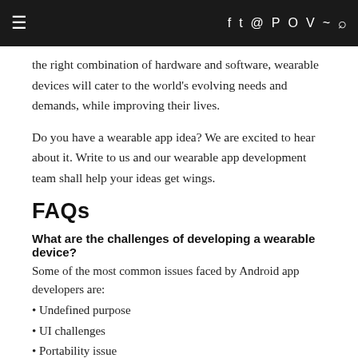≡  f  ✦  ◎  ⊕  ○  v  ☰  🔍
the right combination of hardware and software, wearable devices will cater to the world's evolving needs and demands, while improving their lives.
Do you have a wearable app idea? We are excited to hear about it. Write to us and our wearable app development team shall help your ideas get wings.
FAQs
What are the challenges of developing a wearable device?
Some of the most common issues faced by Android app developers are:
• Undefined purpose
• UI challenges
• Portability issue
• Rapid app development
• Battery life